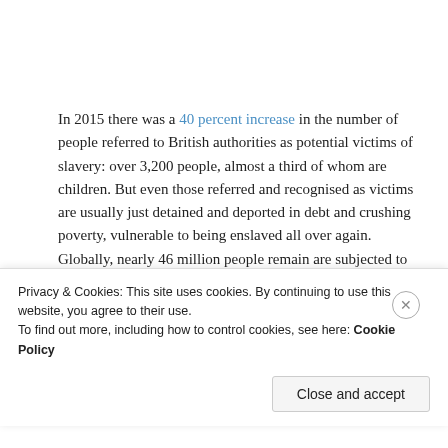In 2015 there was a 40 percent increase in the number of people referred to British authorities as potential victims of slavery: over 3,200 people, almost a third of whom are children. But even those referred and recognised as victims are usually just detained and deported in debt and crushing poverty, vulnerable to being enslaved all over again. Globally, nearly 46 million people remain are subjected to slavery and the government estimates there are over 13,000 people enslaved in Britain.
Privacy & Cookies: This site uses cookies. By continuing to use this website, you agree to their use.
To find out more, including how to control cookies, see here: Cookie Policy
Close and accept